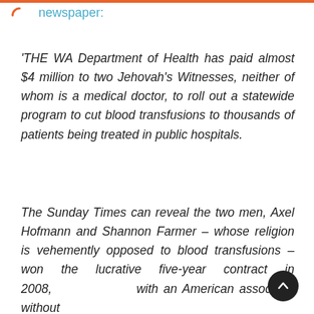newspaper:
'THE WA Department of Health has paid almost $4 million to two Jehovah's Witnesses, neither of whom is a medical doctor, to roll out a statewide program to cut blood transfusions to thousands of patients being treated in public hospitals.
The Sunday Times can reveal the two men, Axel Hofmann and Shannon Farmer – whose religion is vehemently opposed to blood transfusions – won the lucrative five-year contract in 2008, with an American associate, without